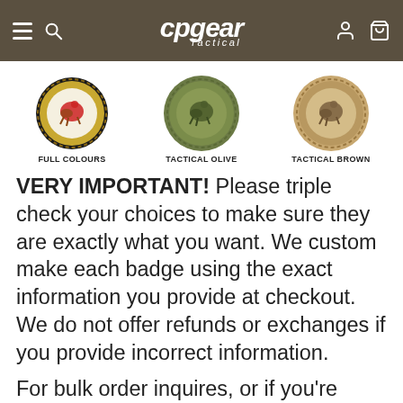cpgear Tactical
[Figure (photo): Three circular military-style badges side by side: Full Colours (black border, gold wreath, coloured knight on horseback), Tactical Olive (olive green badge, green wreath, olive-toned knight), Tactical Brown (tan/brown badge, tan wreath, brown-toned knight). Labels: FULL COLOURS, TACTICAL OLIVE, TACTICAL BROWN.]
VERY IMPORTANT! Please triple check your choices to make sure they are exactly what you want. We custom make each badge using the exact information you provide at checkout. We do not offer refunds or exchanges if you provide incorrect information.
For bulk order inquires, or if you're looking for a badge that you don't see listed here,